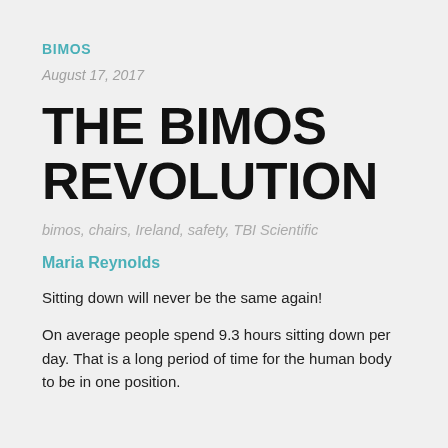BIMOS
August 17, 2017
THE BIMOS REVOLUTION
bimos, chairs, Ireland, safety, TBI Scientific
Maria Reynolds
Sitting down will never be the same again!
On average people spend 9.3 hours sitting down per day. That is a long period of time for the human body to be in one position.